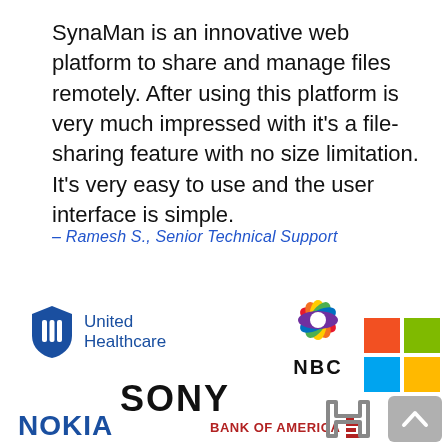SynaMan is an innovative web platform to share and manage files remotely. After using this platform is very much impressed with it's a file-sharing feature with no size limitation. It's very easy to use and the user interface is simple.
— Ramesh S., Senior Technical Support
[Figure (logo): United Healthcare logo with blue shield icon and text]
[Figure (logo): NBC peacock logo with colorful feathers and NBC text]
[Figure (logo): Microsoft four-color square logo]
[Figure (logo): SONY logo in bold black text]
[Figure (logo): NOKIA logo in bold blue text]
[Figure (logo): BANK OF AMERICA logo with red flag icon]
[Figure (logo): Honda partial logo (H emblem) partially visible]